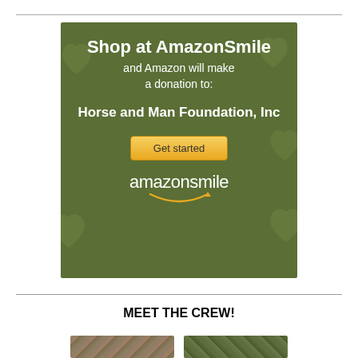[Figure (infographic): AmazonSmile advertisement on olive/dark green background with heart decorations. Text reads: 'Shop at AmazonSmile and Amazon will make a donation to: Horse and Man Foundation, Inc' with a 'Get started' button and the amazonsmile logo.]
MEET THE CREW!
[Figure (photo): Two partially visible animal photos at the bottom of the page.]